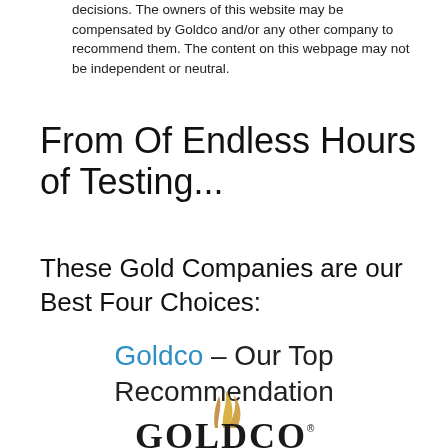decisions. The owners of this website may be compensated by Goldco and/or any other company to recommend them. The content on this webpage may not be independent or neutral.
From Of Endless Hours of Testing...
These Gold Companies are our Best Four Choices:
Goldco – Our Top Recommendation
[Figure (logo): Goldco logo with stylized golden flame/feather above the text GOLDCO with registered trademark symbol]